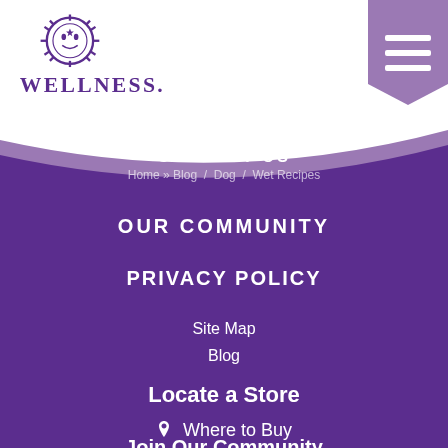[Figure (logo): Wellness pet food brand logo — circular sun/moon face icon above the word WELLNESS in purple serif font]
[Figure (other): Hamburger menu button (three white horizontal lines) on a purple rounded-bottom rectangle background in top-right corner]
CONTACT US
Home » Blog / Dog / Wet Recipes
OUR COMMUNITY
PRIVACY POLICY
Site Map
Blog
Locate a Store
📍 Where to Buy
Join Our Community